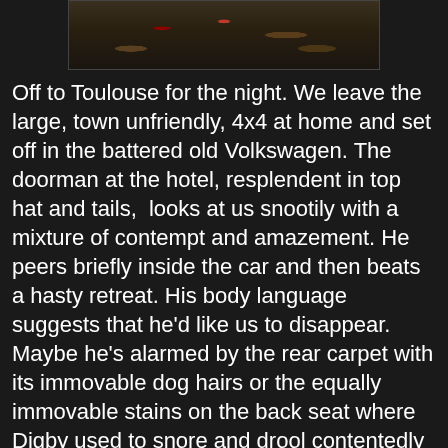[Figure (photo): Partial photo at top of page showing what appears to be vegetation and debris on dark ground, cropped at top edge of page]
Off to Toulouse for the night. We leave the large, town unfriendly, 4x4 at home and set off in the battered old Volkswagen. The doorman at the hotel, resplendent in top hat and tails,  looks at us snootily with a mixture of contempt and amazement. He peers briefly inside the car and then beats a hasty retreat. His body language suggests that he'd like us to disappear. Maybe he's alarmed by the rear carpet with its immovable dog hairs or the equally immovable stains on the back seat where Digby used to snore and drool contentedly away.  No denying that our trusty old health hazard on wheels is a somewhat incongruous sight amongst the Porsches and Mercedes lined up outside.
" The font " shouts after the rapidly disappearing figure . " Young man ! Could you please park this for me ?